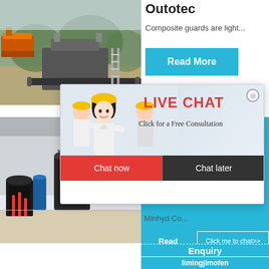[Figure (photo): Industrial crusher/mining equipment on a worksite with orange machinery in background]
Outotec
Composite guards are light...
Read More
[Figure (photo): Industrial milling/grinding machinery in a factory setting]
hour online
[Figure (photo): Industrial jaw crusher machine]
Read
[Figure (screenshot): Live Chat popup overlay with workers in hard hats, LIVE CHAT heading in red, Click for a Free Consultation subtext, Chat now (red button) and Chat later (dark button)]
LIVE CHAT
Click for a Free Consultation
Chat now
Chat later
Minhyd Co...
Click me to chat>>
Enquiry
limingjlmofen